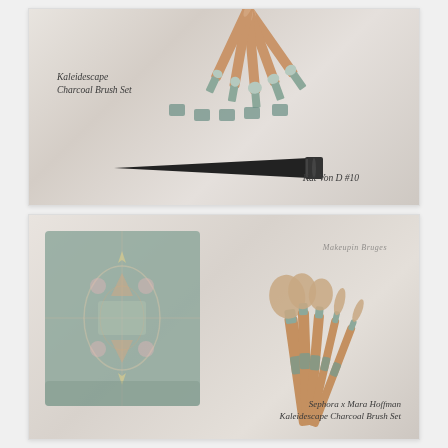[Figure (photo): Photograph of Kaleidescape Charcoal Brush Set makeup brushes with rose gold and patterned handles on marble background, with a single Kat Von D #10 black brush shown separately below]
[Figure (photo): Photograph of Sephora x Mara Hoffman Kaleidescape Charcoal Brush Set showing a decorative patterned box/pouch and five makeup brushes with rose gold and patterned handles on marble background, with watermark 'Makeupin Bruges']